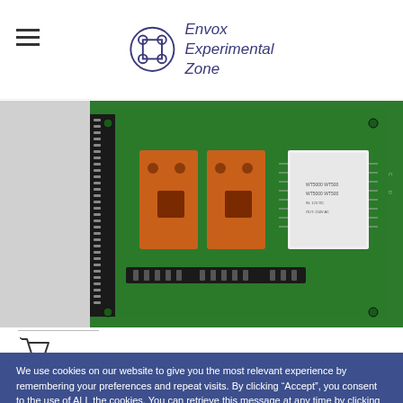Envox Experimental Zone
[Figure (photo): Close-up photograph of a green PCB circuit board with orange relay components and white IC chips, with pin headers along the edges.]
We use cookies on our website to give you the most relevant experience by remembering your preferences and repeat visits. By clicking “Accept”, you consent to the use of ALL the cookies. You can retrieve this message at any time by clicking "Manage consent" in the Home page footer to access "Cookie settings".
Cookie settings | Reject All | Accept